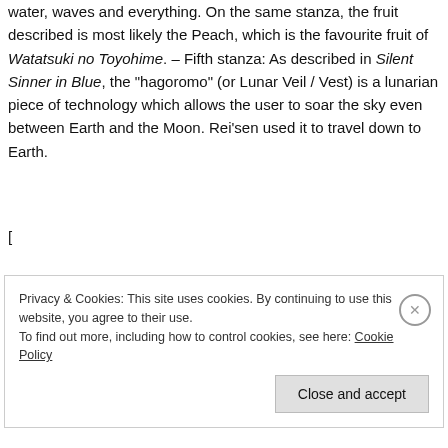water, waves and everything. On the same stanza, the fruit described is most likely the Peach, which is the favourite fruit of Watatsuki no Toyohime. – Fifth stanza: As described in Silent Sinner in Blue, the "hagoromo" (or Lunar Veil / Vest) is a lunarian piece of technology which allows the user to soar the sky even between Earth and the Moon. Rei'sen used it to travel down to Earth.
[
Privacy & Cookies: This site uses cookies. By continuing to use this website, you agree to their use. To find out more, including how to control cookies, see here: Cookie Policy
Close and accept